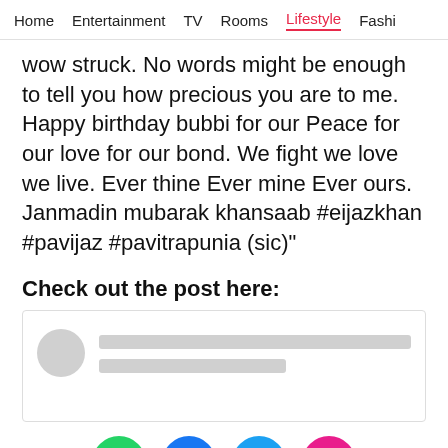Home  Entertainment  TV  Rooms  Lifestyle  Fashi
wow struck. No words might be enough to tell you how precious you are to me. Happy birthday bubbi for our Peace for our love for our bond. We fight we love we live. Ever thine Ever mine Ever ours. Janmadin mubarak khansaab #eijazkhan #pavijaz #pavitrapunia (sic)"
Check out the post here:
[Figure (screenshot): Blurred/redacted social media post preview with avatar circle and placeholder lines]
[Figure (infographic): Row of social share icons: WhatsApp (green), Facebook (blue), Twitter (cyan), Messaging/more (pink). Close X button on right.]
[Figure (infographic): BitLife advertisement banner in red. Shows BitLife logo on left, black block, diagonal slash, Murder / Do it! text on right with blue pill button. Corner has question mark and X icons.]